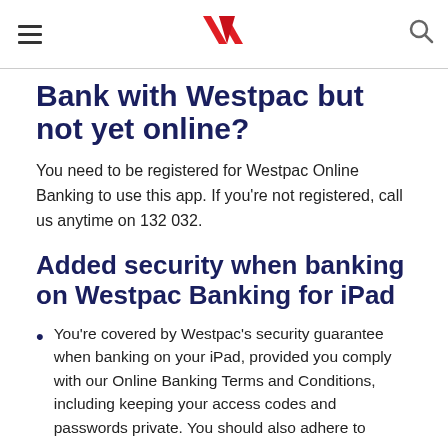Westpac
Bank with Westpac but not yet online?
You need to be registered for Westpac Online Banking to use this app. If you're not registered, call us anytime on 132 032.
Added security when banking on Westpac Banking for iPad
You're covered by Westpac's security guarantee when banking on your iPad, provided you comply with our Online Banking Terms and Conditions, including keeping your access codes and passwords private. You should also adhere to